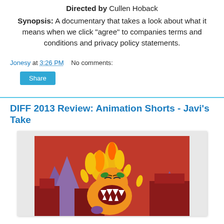Directed by Cullen Hoback
Synopsis: A documentary that takes a look about what it means when we click "agree" to companies terms and conditions and privacy policy statements.
Jonesy at 3:26 PM    No comments:
Share
DIFF 2013 Review: Animation Shorts - Javi's Take
[Figure (illustration): Cartoon illustration of an orange monster with its mouth open wide, surrounded by fire and flames, with red buildings in the background and purple mountains.]